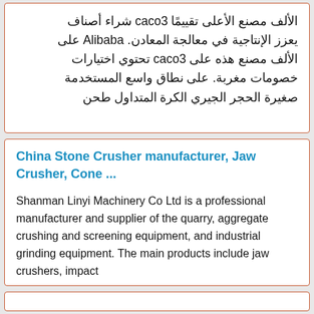الألف مصنع الأعلى تقييمًا caco3 شراء أصناف يعزز الإنتاجية في معالجة المعادن. Alibaba على الألف مصنع هذه على caco3 تحتوي اختيارات خصومات مغربة. على نطاق واسع المستخدمة صغيرة الحجر الجيري الكرة المتداول طحن
China Stone Crusher manufacturer, Jaw Crusher, Cone ...
Shanman Linyi Machinery Co Ltd is a professional manufacturer and supplier of the quarry, aggregate crushing and screening equipment, and industrial grinding equipment. The main products include jaw crushers, impact